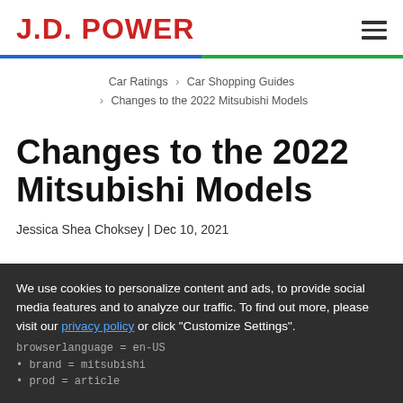J.D. POWER
Car Ratings > Car Shopping Guides > Changes to the 2022 Mitsubishi Models
Changes to the 2022 Mitsubishi Models
Jessica Shea Choksey | Dec 10, 2021
We use cookies to personalize content and ads, to provide social media features and to analyze our traffic. To find out more, please visit our privacy policy or click "Customize Settings".